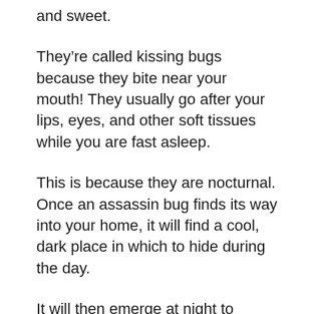and sweet.
They’re called kissing bugs because they bite near your mouth! They usually go after your lips, eyes, and other soft tissues while you are fast asleep.
This is because they are nocturnal. Once an assassin bug finds its way into your home, it will find a cool, dark place in which to hide during the day.
It will then emerge at night to search for food. If that’s not creepy enough, keep in mind that they have also been known to hide between mattresses.